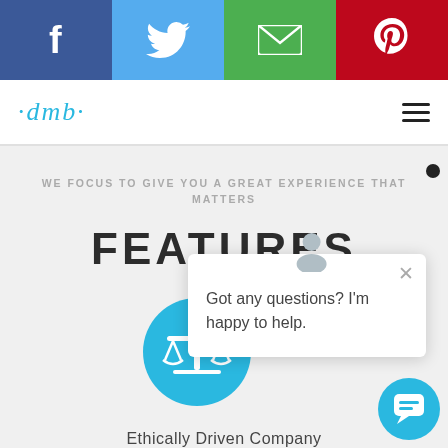[Figure (screenshot): Social media share bar with Facebook, Twitter, Email, and Pinterest buttons]
[Figure (logo): DMB cursive logo in cyan/teal color]
[Figure (infographic): Hamburger menu icon (three horizontal lines)]
WE FOCUS TO GIVE YOU A GREAT EXPERIENCE THAT MATTERS
FEATURES
[Figure (screenshot): Chat popup with user avatar icon and message: Got any questions? I'm happy to help. With close X button.]
[Figure (illustration): Teal circle with white balance/scales of justice icon]
[Figure (illustration): Cyan chat bubble button at bottom right]
Ethically Driven Company